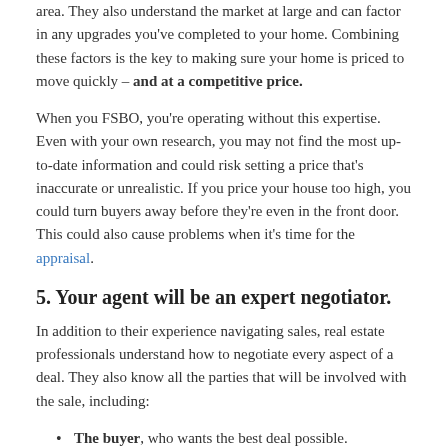area. They also understand the market at large and can factor in any upgrades you've completed to your home. Combining these factors is the key to making sure your home is priced to move quickly – and at a competitive price.
When you FSBO, you're operating without this expertise. Even with your own research, you may not find the most up-to-date information and could risk setting a price that's inaccurate or unrealistic. If you price your house too high, you could turn buyers away before they're even in the front door. This could also cause problems when it's time for the appraisal.
5. Your agent will be an expert negotiator.
In addition to their experience navigating sales, real estate professionals understand how to negotiate every aspect of a deal. They also know all the parties that will be involved with the sale, including:
The buyer, who wants the best deal possible.
The buyer's agent, who will use their expertise to advocate for the buyer.
The inspection company, which works for the buyer and will almost always find concerns with the house.